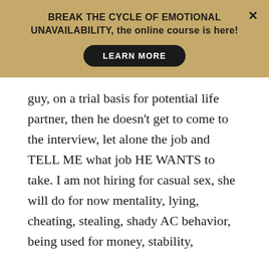[Figure (screenshot): Promotional banner with tan/gold background. Bold text reads 'BREAK THE CYCLE OF EMOTIONAL UNAVAILABILITY, the online course is here!' with a black pill-shaped button labeled 'LEARN MORE' and an X close button in the top right.]
guy, on a trial basis for potential life partner, then he doesn't get to come to the interview, let alone the job and TELL ME what job HE WANTS to take. I am not hiring for casual sex, she will do for now mentality, lying, cheating, stealing, shady AC behavior, being used for money, stability,